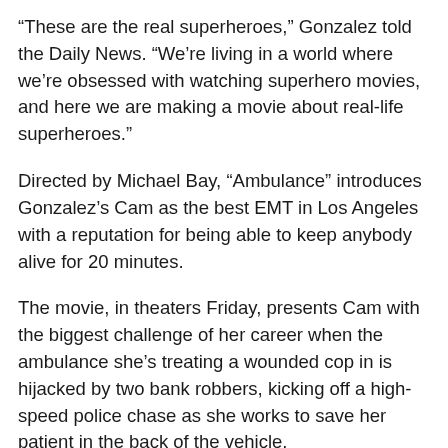“These are the real superheroes,” Gonzalez told the Daily News. “We’re living in a world where we’re obsessed with watching superhero movies, and here we are making a movie about real-life superheroes.”
Directed by Michael Bay, “Ambulance” introduces Gonzalez’s Cam as the best EMT in Los Angeles with a reputation for being able to keep anybody alive for 20 minutes.
The movie, in theaters Friday, presents Cam with the biggest challenge of her career when the ambulance she’s treating a wounded cop in is hijacked by two bank robbers, kicking off a high-speed police chase as she works to save her patient in the back of the vehicle.
Gonzalez is no stranger to action films, previously starring in “Godzilla vs. Kong” and the car-centric thriller “Baby Driver,” but says nothing compared with filming